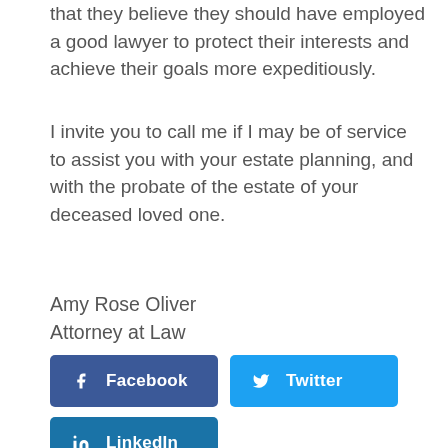that they believe they should have employed a good lawyer to protect their interests and achieve their goals more expeditiously.
I invite you to call me if I may be of service to assist you with your estate planning, and with the probate of the estate of your deceased loved one.
Amy Rose Oliver
Attorney at Law
[Figure (infographic): Social media share buttons: Facebook (dark blue), Twitter (light blue), LinkedIn (teal blue)]